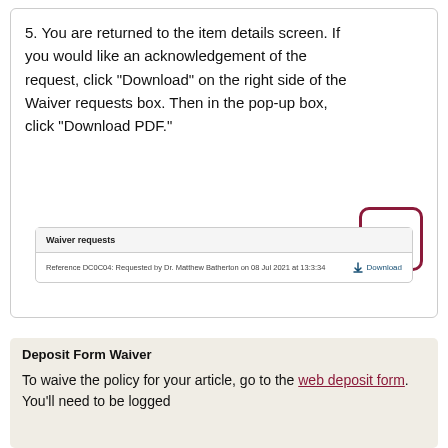5. You are returned to the item details screen. If you would like an acknowledgement of the request, click "Download" on the right side of the Waiver requests box.  Then in the pop-up box, click "Download PDF."
[Figure (screenshot): Screenshot of Waiver requests box with a reference entry 'Reference DC0C04: Requested by Dr. Matthew Batherton on 08 Jul 2021 at 13:3:34' and a Download button on the right.]
Deposit Form Waiver
To waive the policy for your article, go to the web deposit form. You'll need to be logged